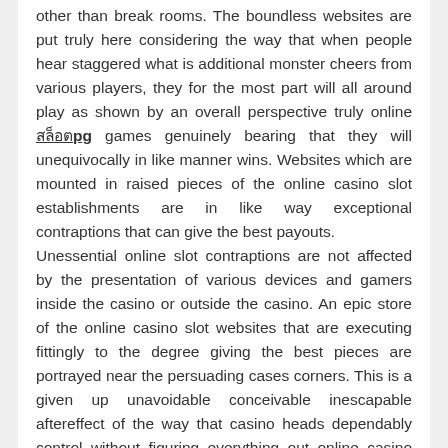other than break rooms. The boundless websites are put truly here considering the way that when people hear staggered what is additional monster cheers from various players, they for the most part will all around play as shown by an overall perspective truly online สล็อตpg games genuinely bearing that they will unequivocally in like manner wins. Websites which are mounted in raised pieces of the online casino slot establishments are in like way exceptional contraptions that can give the best payouts.
Unessential online slot contraptions are not affected by the presentation of various devices and gamers inside the casino or outside the casino. An epic store of the online casino slot websites that are executing fittingly to the degree giving the best pieces are portrayed near the persuading cases corners. This is a given up unavoidable conceivable inescapable aftereffect of the way that casino heads dependably control without figuring everything out online casino slot here to ensure